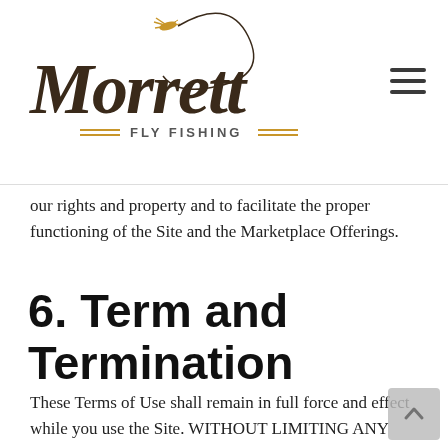[Figure (logo): Morrett Fly Fishing logo with script text and decorative fly fishing hook illustration above, double gold lines flanking 'FLY FISHING' subtitle]
our rights and property and to facilitate the proper functioning of the Site and the Marketplace Offerings.
6. Term and Termination
These Terms of Use shall remain in full force and effect while you use the Site. WITHOUT LIMITING ANY OTHER PROVISION OF THESE TERMS OF USE,